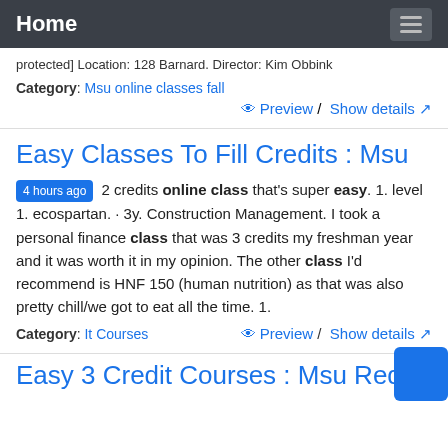Home
protected] Location: 128 Barnard. Director: Kim Obbink
Category: Msu online classes fall
Preview / Show details
Easy Classes To Fill Credits : Msu
4 hours ago 2 credits online class that’s super easy. 1. level 1. ecospartan. · 3y. Construction Management. I took a personal finance class that was 3 credits my freshman year and it was worth it in my opinion. The other class I’d recommend is HNF 150 (human nutrition) as that was also pretty chill/we got to eat all the time. 1.
Category: It Courses
Preview / Show details
Easy 3 Credit Courses : Msu Reddit